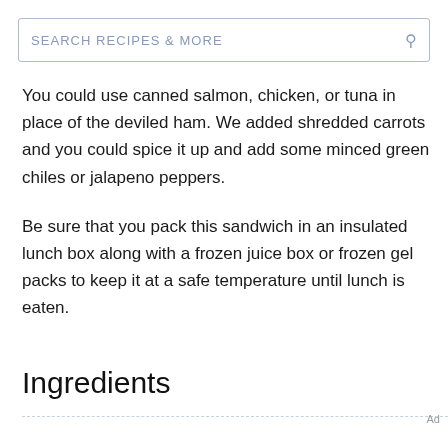SEARCH RECIPES & MORE
You could use canned salmon, chicken, or tuna in place of the deviled ham. We added shredded carrots and you could spice it up and add some minced green chiles or jalapeno peppers.
Be sure that you pack this sandwich in an insulated lunch box along with a frozen juice box or frozen gel packs to keep it at a safe temperature until lunch is eaten.
Ingredients